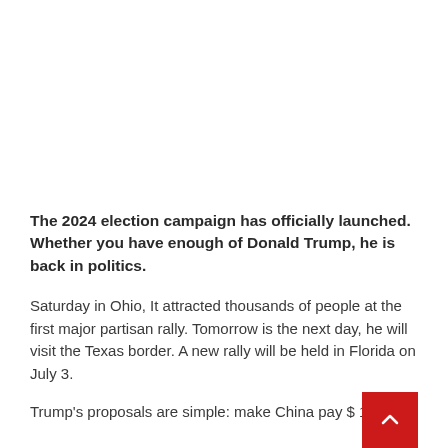The 2024 election campaign has officially launched. Whether you have enough of Donald Trump, he is back in politics.
Saturday in Ohio, It attracted thousands of people at the first major partisan rally. Tomorrow is the next day, he will visit the Texas border. A new rally will be held in Florida on July 3.
Trump's proposals are simple: make China pay $ 10